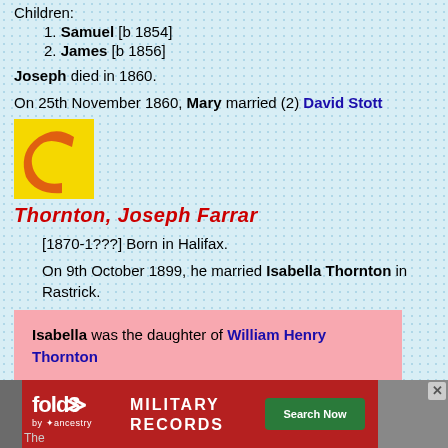Children:
1. Samuel [b 1854]
2. James [b 1856]
Joseph died in 1860.
On 25th November 1860, Mary married (2) David Stott
[Figure (logo): Yellow square logo with orange letter C]
Thornton, Joseph Farrar
[1870-1???] Born in Halifax.
On 9th October 1899, he married Isabella Thornton in Rastrick.
Isabella was the daughter of William Henry Thornton
[Figure (screenshot): Fold3 Military Records advertisement banner]